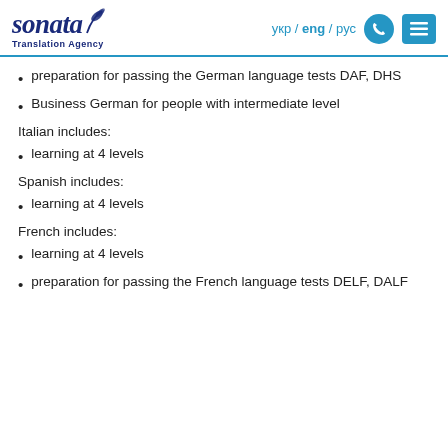Sonata Translation Agency | укр / eng / рус
preparation for passing the German language tests DAF, DHS
Business German for people with intermediate level
Italian includes:
learning at 4 levels
Spanish includes:
learning at 4 levels
French includes:
learning at 4 levels
preparation for passing the French language tests DELF, DALF